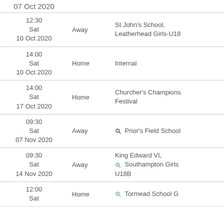| Date/Time | Venue | Opponent |
| --- | --- | --- |
| 07 Oct 2020 |  |  |
| 12:30
Sat
10 Oct 2020 | Away | St John's School, Leatherhead Girls-U18 |
| 14:00
Sat
10 Oct 2020 | Home | Internal |
| 14:00
Sat
17 Oct 2020 | Home | Churcher's Champions Festival |
| 09:30
Sat
07 Nov 2020 | Away | Prior's Field School |
| 09:30
Sat
14 Nov 2020 | Away | King Edward VI, Southampton Girls U18B |
| 12:00
Sat | Home | Tormead School G |